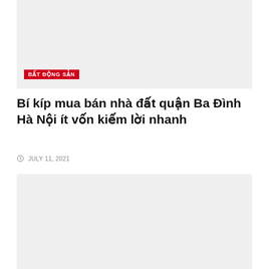[Figure (photo): Top image placeholder block, light gray background]
BẤT ĐỘNG SẢN
Bí kíp mua bán nhà đất quận Ba Đình Hà Nội ít vốn kiếm lời nhanh
JULY 11, 2021
[Figure (photo): Bottom image placeholder block, light gray background]